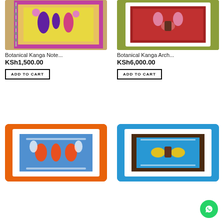[Figure (photo): Botanical Kanga notebook with purple and yellow cover on wooden surface]
Botanical Kanga Note...
KSh1,500.00
ADD TO CART
[Figure (photo): Botanical Kanga archival print in white frame on olive green background]
Botanical Kanga Arch...
KSh6,000.00
ADD TO CART
[Figure (photo): Framed botanical kanga print with blue artwork on orange background]
[Figure (photo): Framed botanical kanga print with blue and gold artwork on blue background]